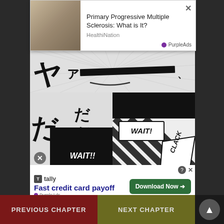[Figure (screenshot): Advertisement banner: Primary Progressive Multiple Sclerosis: What is It? by HealthiNation, with PurpleAds badge]
[Figure (illustration): Manga comic page panel 1: top strip with Japanese katakana sound effects and a black horizontal bar]
[Figure (illustration): Manga comic page panel 2: middle large panel with Japanese katakana, black box with WAIT!! text, diagonal stripe pattern, WAIT! speech bubble, CLACK jagged bubble]
[Figure (illustration): Manga comic page panel 3: bottom panel with anime girl face, Japanese katakana sound effects on sides]
[Figure (screenshot): Bottom advertisement: Tally app - Fast credit card payoff, Download Now button, PurpleAds badge]
PREVIOUS CHAPTER   NEXT CHAPTER